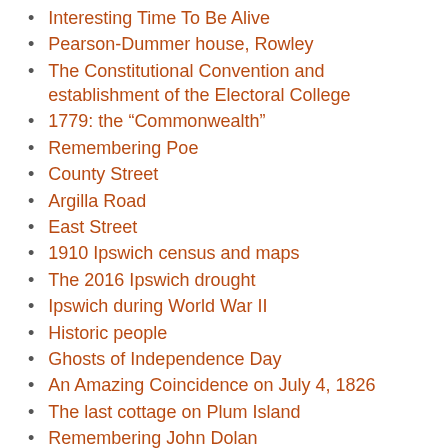Interesting Time To Be Alive
Pearson-Dummer house, Rowley
The Constitutional Convention and establishment of the Electoral College
1779: the “Commonwealth”
Remembering Poe
County Street
Argilla Road
East Street
1910 Ipswich census and maps
The 2016 Ipswich drought
Ipswich during World War II
Historic people
Ghosts of Independence Day
An Amazing Coincidence on July 4, 1826
The last cottage on Plum Island
Remembering John Dolan
A Nostalgic Glance at Harvard’s Early History